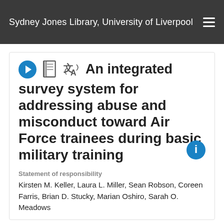Sydney Jones Library, University of Liverpool
An integrated survey system for addressing abuse and misconduct toward Air Force trainees during basic military training
Statement of responsibility
Kirsten M. Keller, Laura L. Miller, Sean Robson, Coreen Farris, Brian D. Stucky, Marian Oshiro, Sarah O. Meadows